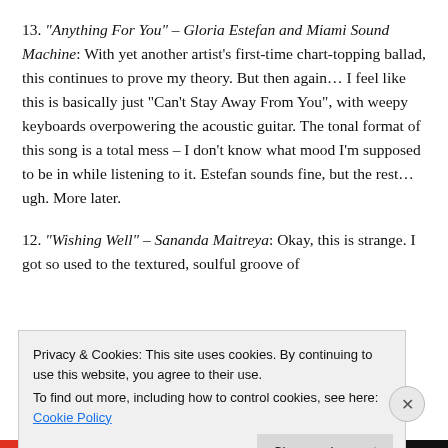13. “Anything For You” – Gloria Estefan and Miami Sound Machine: With yet another artist’s first-time chart-topping ballad, this continues to prove my theory. But then again… I feel like this is basically just “Can’t Stay Away From You”, with weepy keyboards overpowering the acoustic guitar. The tonal format of this song is a total mess – I don’t know what mood I’m supposed to be in while listening to it. Estefan sounds fine, but the rest… ugh. More later.
12. “Wishing Well” – Sananda Maitreya: Okay, this is strange. I got so used to the textured, soulful groove of
Privacy & Cookies: This site uses cookies. By continuing to use this website, you agree to their use.
To find out more, including how to control cookies, see here: Cookie Policy